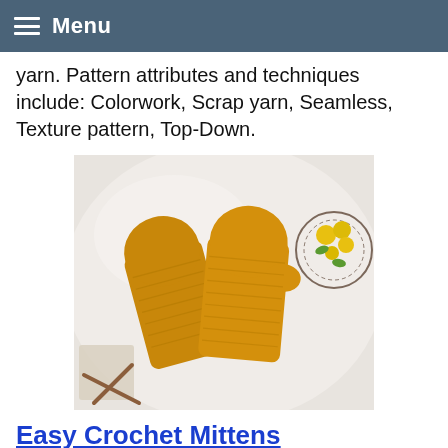Menu
yarn. Pattern attributes and techniques include: Colorwork, Scrap yarn, Seamless, Texture pattern, Top-Down.
[Figure (photo): Two golden-yellow crocheted mittens laid flat on white fabric, with yellow flowers in a dark doily at right and a small knitting project at lower left with wooden needles.]
Easy Crochet Mittens